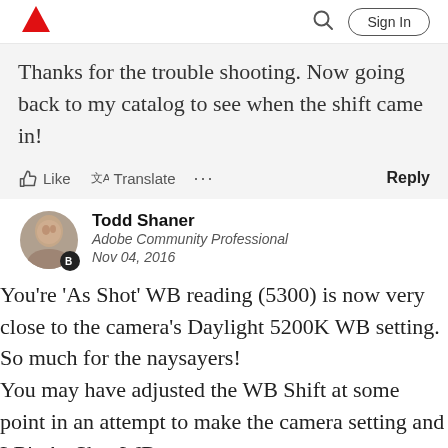Adobe community forum header with logo, search icon, and Sign In button
Thanks for the trouble shooting. Now going back to my catalog to see when the shift came in!
Like  Translate  ...  Reply
Todd Shaner
Adobe Community Professional
Nov 04, 2016
You're 'As Shot' WB reading (5300) is now very close to the camera's Daylight 5200K WB setting. So much for the naysayers!
You may have adjusted the WB Shift at some point in an attempt to make the camera setting and LR's As Shot WB